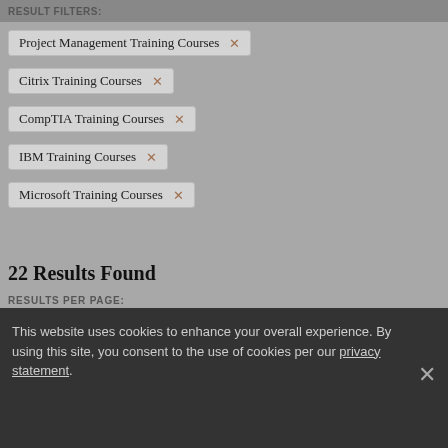RESULT FILTERS:
Project Management Training Courses ×
Citrix Training Courses ×
CompTIA Training Courses ×
IBM Training Courses ×
Microsoft Training Courses ×
22 Results Found
RESULTS PER PAGE:
10   40   80
SORT BY:
This website uses cookies to enhance your overall experience. By using this site, you consent to the use of cookies per our privacy statement.